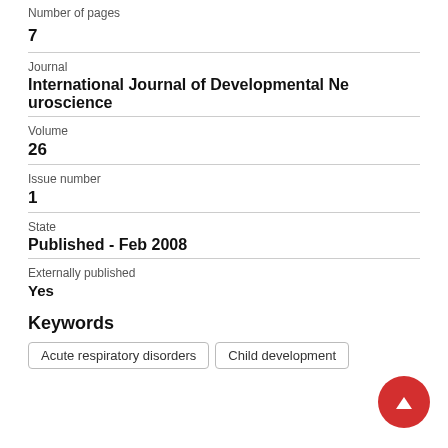Number of pages
7
Journal
International Journal of Developmental Neuroscience
Volume
26
Issue number
1
State
Published - Feb 2008
Externally published
Yes
Keywords
Acute respiratory disorders
Child development